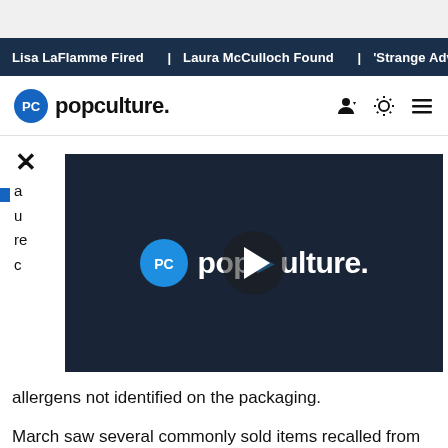Lisa LaFlamme Fired | Laura McCulloch Found | 'Strange Adv
popculture.
[Figure (screenshot): Popculture.com video player overlay with logo showing 'PC popculture.' on dark navy background with play button]
allergens not identified on the packaging.
March saw several commonly sold items recalled from major outlets like Kroger, Coste, and Trader Joe's. There